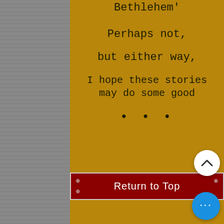Bethlehem'
Perhaps not,
but either way,
I hope these stories may do some good
• • •
- Peter Malakoff
Return to Top